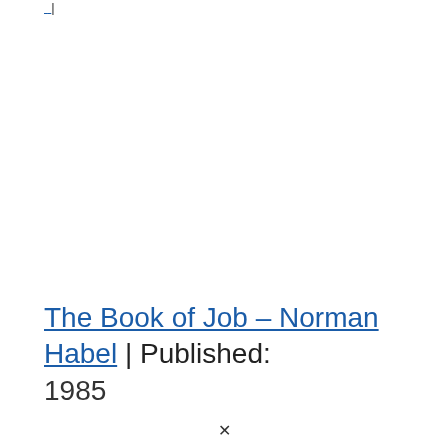|
The Book of Job – Norman Habel | Published: 1985